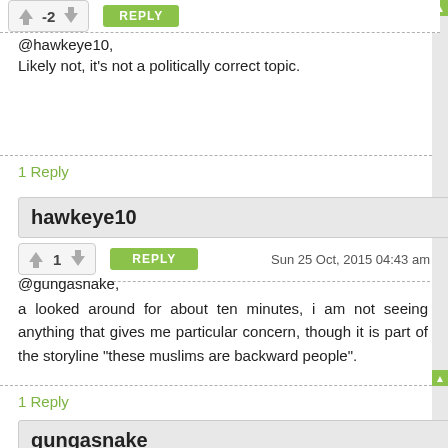[Figure (screenshot): Top partial comment with vote box showing -2 and a green REPLY button, cut off at top]
@hawkeye10,
Likely not, it's not a politically correct topic.
1 Reply
hawkeye10
1   Sun 25 Oct, 2015 04:43 am   REPLY
@gungasnake,
a looked around for about ten minutes, i am not seeing anything that gives me particular concern, though it is part of the storyline "these muslims are backward people".
1 Reply
gungasnake
2   Sun 25 Oct, 2015 04:53 am   REPLY